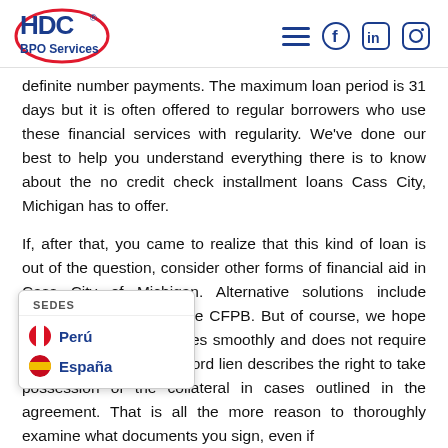HDC BPO Services logo and navigation icons
definite number payments. The maximum loan period is 31 days but it is often offered to regular borrowers who use these financial services with regularity. We've done our best to help you understand everything there is to know about the no credit check installment loans Cass City, Michigan has to offer.
If, after that, you came to realize that this kind of loan is out of the question, consider other forms of financial aid in Cass City of Michigan. Alternative solutions include contacting the FTC or the CFPB. But of course, we hope your loan experience goes smoothly and does not require any external help. The word lien describes the right to take possession of the collateral in cases outlined in the agreement. That is all the more reason to thoroughly examine what documents you sign, even if
[Figure (other): Popup menu showing SEDES header with two location options: Peru (with Peruvian flag) and España (with Spanish flag)]